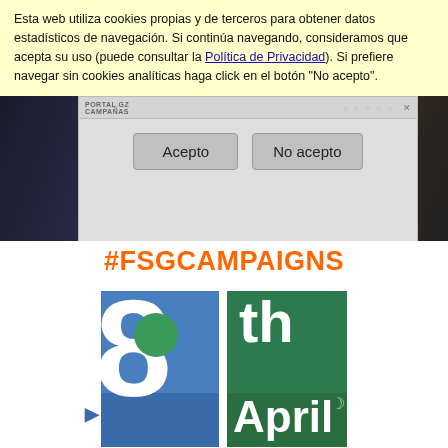Esta web utiliza cookies propias y de terceros para obtener datos estadísticos de navegación. Si continúa navegando, consideramos que acepta su uso (puede consultar la Política de Privacidad). Si prefiere navegar sin cookies analíticas haga click en el botón 'No acepto'.
[Figure (screenshot): Cookie consent dialog with 'Acepto' and 'No acepto' buttons overlaid on a website showing a campaign image with 'GENERACIÓN GZ' text and young people]
#FSGCAMPAIGNS
[Figure (logo): 8th April International Roma Day logo with blue and green geometric blocks, large '8' with green circle, 'th' and 'April' text in white, and 'International Roma Day' text below in green]